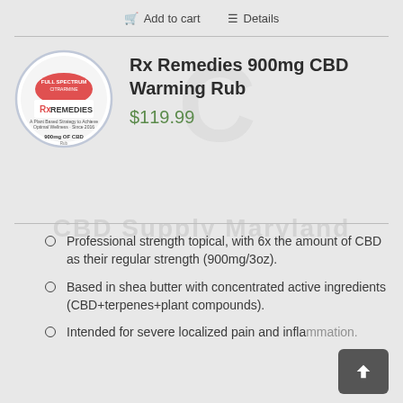Add to cart  Details
[Figure (illustration): Circular product label for Rx Remedies 900mg CBD Warming Rub, showing a round tin/jar with a blue-bordered circle, red oval center with product branding, and text '900mg OF CBD' at the bottom.]
Rx Remedies 900mg CBD Warming Rub
$119.99
Professional strength topical, with 6x the amount of CBD as their regular strength (900mg/3oz).
Based in shea butter with concentrated active ingredients (CBD+terpenes+plant compounds).
Intended for severe localized pain and inflammation.